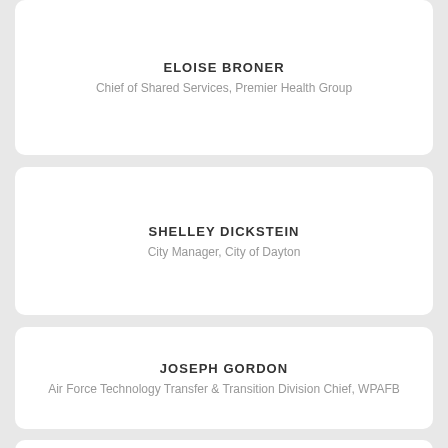ELOISE BRONER
Chief of Shared Services, Premier Health Group
SHELLEY DICKSTEIN
City Manager, City of Dayton
JOSEPH GORDON
Air Force Technology Transfer & Transition Division Chief, WPAFB